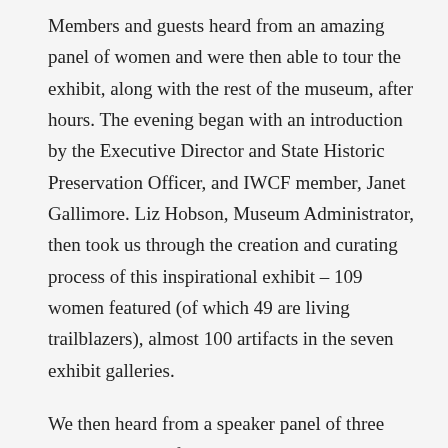Members and guests heard from an amazing panel of women and were then able to tour the exhibit, along with the rest of the museum, after hours. The evening began with an introduction by the Executive Director and State Historic Preservation Officer, and IWCF member, Janet Gallimore. Liz Hobson, Museum Administrator, then took us through the creation and curating process of this inspirational exhibit – 109 women featured (of which 49 are living trailblazers), almost 100 artifacts in the seven exhibit galleries.
We then heard from a speaker panel of three women who are featured in the exhibit:  Ellen Ochoa, Mary Ann Arnold, and Kay Hardy, sharing stories of their adventures, lessons learned, and advice for future trailblazers.  (Mary Ann and Kay are also IWCF